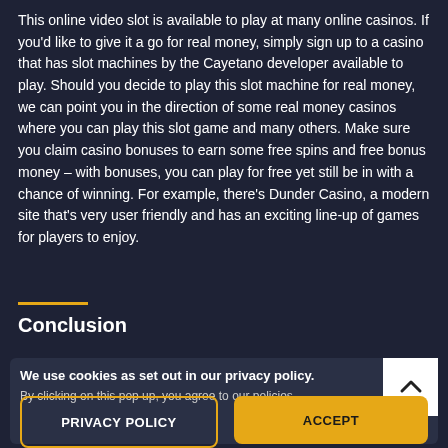This online video slot is available to play at many online casinos. If you'd like to give it a go for real money, simply sign up to a casino that has slot machines by the Cayetano developer available to play. Should you decide to play this slot machine for real money, we can point you in the direction of some real money casinos where you can play this slot game and many others. Make sure you claim casino bonuses to earn some free spins and free bonus money – with bonuses, you can play for free yet still be in with a chance of winning. For example, there's Dunder Casino, a modern site that's very user friendly and has an exciting line-up of games for players to enjoy.
Conclusion
We use cookies as set out in our privacy policy. By clicking on this pop up, you agree to our policies.
PRIVACY POLICY
ACCEPT